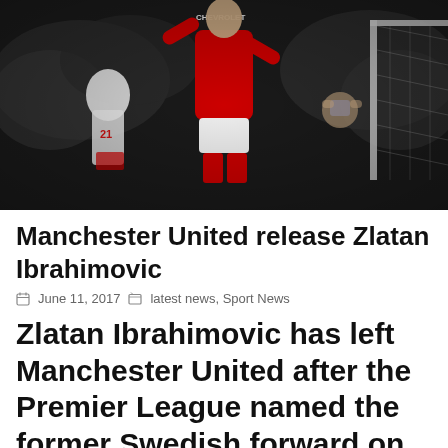[Figure (photo): Manchester United player in red jersey celebrating or reacting on pitch, crowd visible in blurred background, goalpost on right side, another player in white shirt (number 21) in background]
Manchester United release Zlatan Ibrahimovic
June 11, 2017   latest news, Sport News
Zlatan Ibrahimovic has left Manchester United after the Premier League named the former Swedish forward on their official list of free